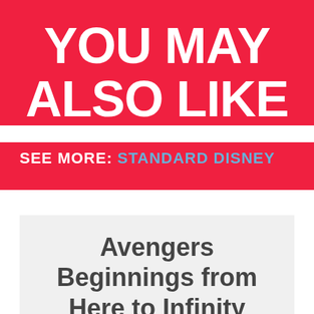YOU MAY ALSO LIKE
SEE MORE: STANDARD DISNEY
Avengers Beginnings from Here to Infinity Personalised Marvel Story Book